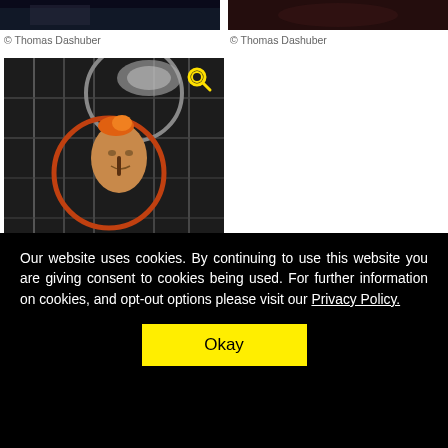[Figure (photo): Partial photo strip — dark image on left (Thomas Dashuber photo)]
[Figure (photo): Partial photo strip — dark reddish image on right (Thomas Dashuber photo)]
© Thomas Dashuber
© Thomas Dashuber
[Figure (photo): Sculpture of a human head surrounded by metal rings and cage-like structure, with a magnifying glass icon overlay. Art installation photograph.]
Our website uses cookies. By continuing to use this website you are giving consent to cookies being used. For further information on cookies, and opt-out options please visit our Privacy Policy.